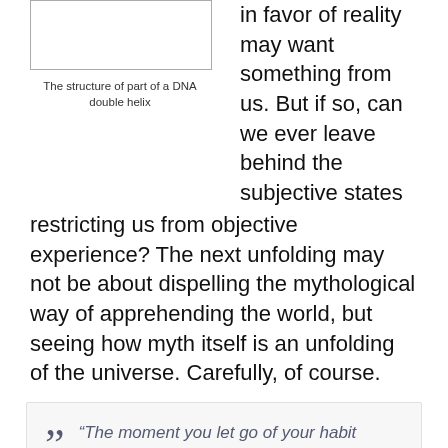[Figure (illustration): Empty box representing the structure of part of a DNA double helix image]
The structure of part of a DNA double helix
in favor of reality may want something from us. But if so, can we ever leave behind the subjective states restricting us from objective experience? The next unfolding may not be about dispelling the mythological way of apprehending the world, but seeing how myth itself is an unfolding of the universe. Carefully, of course.
“The moment you let go of your habit addiction, you explode in all directions.”